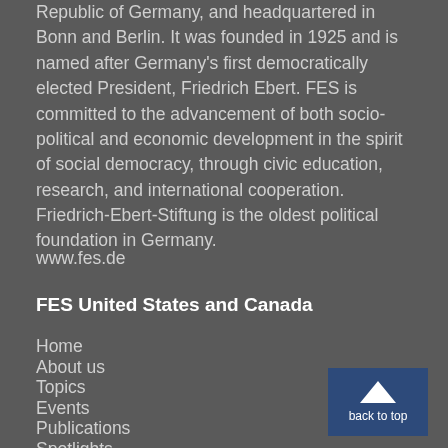Republic of Germany, and headquartered in Bonn and Berlin. It was founded in 1925 and is named after Germany's first democratically elected President, Friedrich Ebert. FES is committed to the advancement of both socio-political and economic development in the spirit of social democracy, through civic education, research, and international cooperation. Friedrich-Ebert-Stiftung is the oldest political foundation in Germany.
www.fes.de
FES United States and Canada
Home
About us
Topics
Events
Publications
Spotlights
Canada